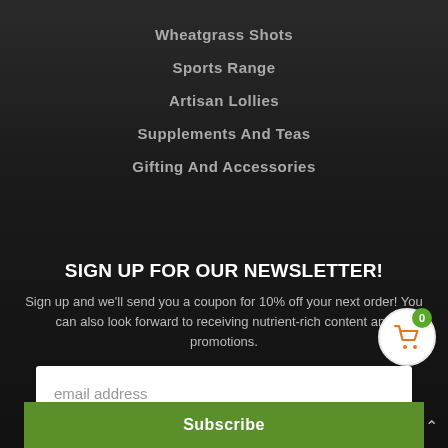Wheatgrass Shots
Sports Range
Artisan Lollies
Supplements And Teas
Gifting And Accessories
SIGN UP FOR OUR NEWSLETTER!
Sign up and we'll send you a coupon for 10% off your next order! You can also look forward to receiving nutrient-rich content and promotions.
email address
Subscribe